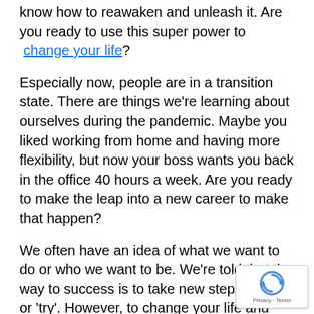know how to reawaken and unleash it. Are you ready to use this super power to change your life?
Especially now, people are in a transition state. There are things we're learning about ourselves during the pandemic. Maybe you liked working from home and having more flexibility, but now your boss wants you back in the office 40 hours a week. Are you ready to make the leap into a new career to make that happen?
We often have an idea of what we want to do or who we want to be. We're told that the way to success is to take new steps to 'start' or 'try'. However, to change your life and make it stick, do something different! What is it?